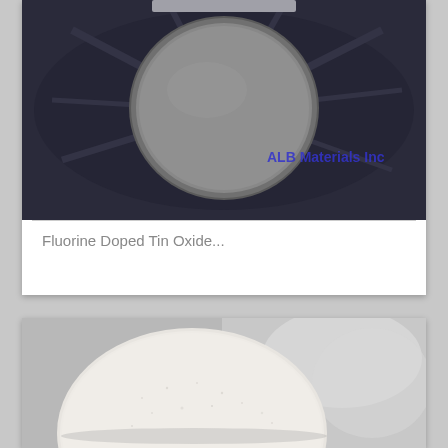[Figure (photo): A circular gray disc (sputtering target) in a silver metallic packaging/bag. The disc is dark gray in color. Blue text watermark reads 'ALB Materials Inc' overlaid on the lower right portion of the image.]
Fluorine Doped Tin Oxide...
[Figure (photo): A circular white/cream colored disc (sputtering target or powder compact) resting in a silver metallic/foil packaging. The disc appears to have a rough, powdery surface texture.]